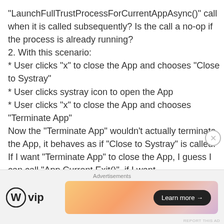“LaunchFullTrustProcessForCurrentAppAsync()” call when it is called subsequently? Is the call a no-op if the process is already running?
2. With this scenario:
* User clicks “x” to close the App and chooses “Close to Systray”
* User clicks systray icon to open the App
* User clicks “x” to close the App and chooses “Terminate App”
Now the “Terminate App” wouldn’t actually terminate the App, it behaves as if “Close to Systray” is called. If I want “Terminate App” to close the App, I guess I can call “App.Current.Exit()”, if I want SystrayComponent.exe closed as well, do I have to use AppService to send message to SystrayComponent.exe and let it react to th
Advertisements
[Figure (logo): WordPress VIP logo with W circle icon and text 'vip']
[Figure (infographic): Advertisement banner with gradient pink/orange background and 'Learn more →' button]